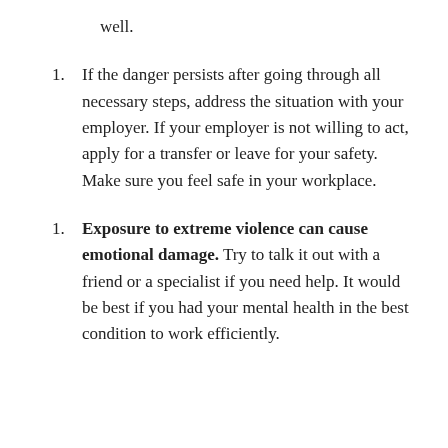well.
If the danger persists after going through all necessary steps, address the situation with your employer. If your employer is not willing to act, apply for a transfer or leave for your safety. Make sure you feel safe in your workplace.
Exposure to extreme violence can cause emotional damage. Try to talk it out with a friend or a specialist if you need help. It would be best if you had your mental health in the best condition to work efficiently.